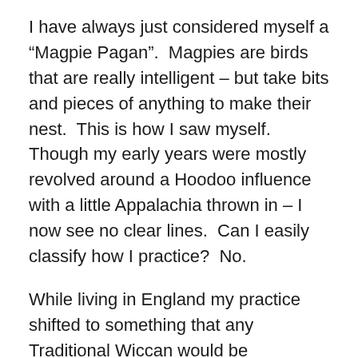I have always just considered myself a “Magpie Pagan”.  Magpies are birds that are really intelligent – but take bits and pieces of anything to make their nest.  This is how I saw myself.  Though my early years were mostly revolved around a Hoodoo influence with a little Appalachia thrown in – I now see no clear lines.  Can I easily classify how I practice?  No.
While living in England my practice shifted to something that any Traditional Wiccan would be comfortable with and could participate in easily.  This was not intentional – I just did what felt right at the time.  While in Germany my practice changed a bit to be something that seemed a little more Druidic – but my perception of Druid.  Not actual authentic Druid – but something similar.
A few weeks ago I moved to West/Central Texas...